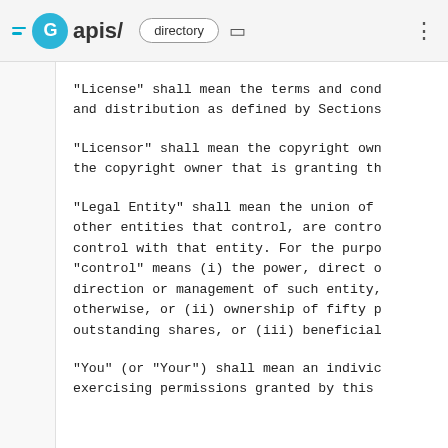[Figure (screenshot): Browser top bar with RapidAPI logo, 'directory' pill, copy icon, and three-dot menu]
"License" shall mean the terms and conditions for use, and distribution as defined by Sections
"Licensor" shall mean the copyright owner or authorized by the copyright owner that is granting the
"Legal Entity" shall mean the union of the acting entity and all other entities that control, are controlled by, or are under common control with that entity. For the purposes of this definition, "control" means (i) the power, direct or indirect, to cause the direction or management of such entity, whether by contract or otherwise, or (ii) ownership of fifty percent or more of the outstanding shares, or (iii) beneficial ownership of such entity.
"You" (or "Your") shall mean an individual or Legal Entity exercising permissions granted by this License.